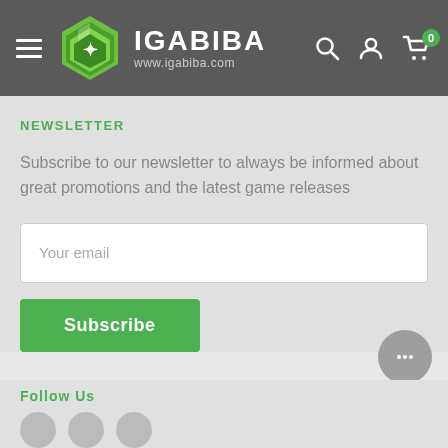IGABIBA www.igabiba.com
NEWSLETTER
Subscribe to our newsletter to always be informed about great promotions and the latest game releases
Your email
Subscribe
Follow Us